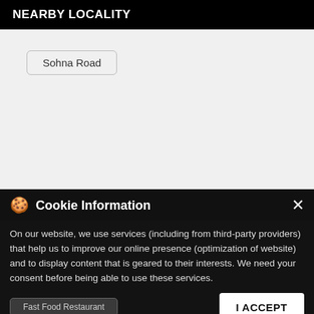NEARBY LOCALITY
Sohna Road
[Figure (logo): Android robot logo (green)]
[Figure (logo): Apple logo (dark)]
CATEGORIES
Restaurant
Chicken Restaurant
Fried Chicken Takeaway
Non-Veg Restaurant
Fast Food Restaurant
Cookie Information
On our website, we use services (including from third-party providers) that help us to improve our online presence (optimization of website) and to display content that is geared to their interests. We need your consent before being able to use these services.
I ACCEPT